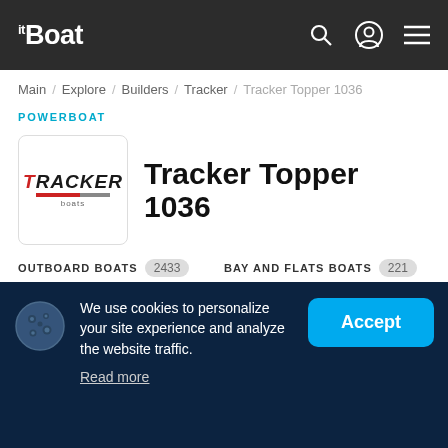itBoat
Main / Explore / Builders / Tracker / Tracker Topper 1036
POWERBOAT
Tracker Topper 1036
OUTBOARD BOATS 2433
BAY AND FLATS BOATS 221
ALUMINUM BOATS 1071
FISHING BOATS 1258
We use cookies to personalize your site experience and analyze the website traffic. Read more